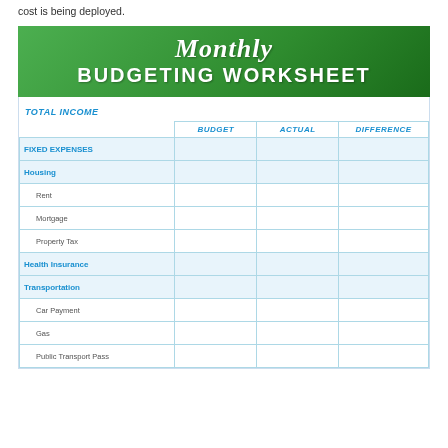cost is being deployed.
[Figure (infographic): Monthly Budgeting Worksheet header banner with green gradient background, italic script 'Monthly' and bold 'BUDGETING WORKSHEET' text in white]
|  | BUDGET | ACTUAL | DIFFERENCE |
| --- | --- | --- | --- |
| TOTAL INCOME |  |  |  |
| FIXED EXPENSES |  |  |  |
| Housing |  |  |  |
| Rent |  |  |  |
| Mortgage |  |  |  |
| Property Tax |  |  |  |
| Health Insurance |  |  |  |
| Transportation |  |  |  |
| Car Payment |  |  |  |
| Gas |  |  |  |
| Public Transport Pass |  |  |  |